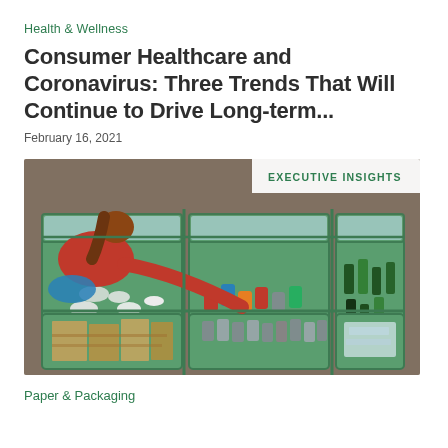Health & Wellness
Consumer Healthcare and Coronavirus: Three Trends That Will Continue to Drive Long-term...
February 16, 2021
[Figure (photo): Aerial view of a woman in a red shirt sorting recyclables into green bins containing plastic bottles, aluminum cans, glass bottles, cardboard, and other materials. An 'EXECUTIVE INSIGHTS' badge overlays the top-right corner of the image.]
Paper & Packaging